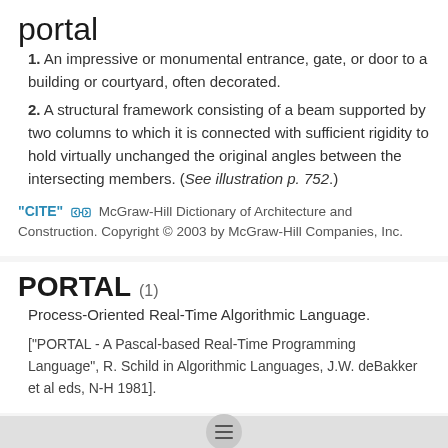portal
1. An impressive or monumental entrance, gate, or door to a building or courtyard, often decorated.
2. A structural framework consisting of a beam supported by two columns to which it is connected with sufficient rigidity to hold virtually unchanged the original angles between the intersecting members. (See illustration p. 752.)
"CITE" [link icon] McGraw-Hill Dictionary of Architecture and Construction. Copyright © 2003 by McGraw-Hill Companies, Inc.
PORTAL (1)
Process-Oriented Real-Time Algorithmic Language.
["PORTAL - A Pascal-based Real-Time Programming Language", R. Schild in Algorithmic Languages, J.W. deBakker et al eds, N-H 1981].
portal (World-Wide Web)